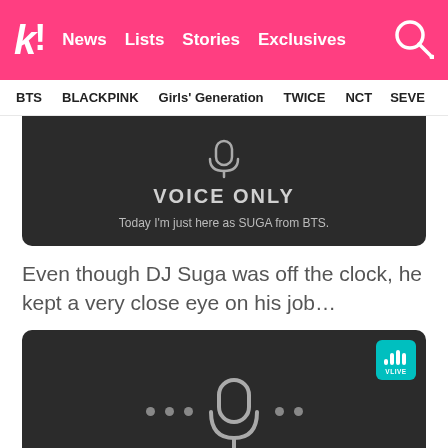k! News Lists Stories Exclusives
BTS BLACKPINK Girls' Generation TWICE NCT SEVE
[Figure (screenshot): Voice only dark card showing microphone icon and text: VOICE ONLY / Today I'm just here as SUGA from BTS.]
Even though DJ Suga was off the clock, he kept a very close eye on his job…
[Figure (screenshot): Dark card with VLIVE badge in top-right corner, large microphone icon with dots on either side in the center.]